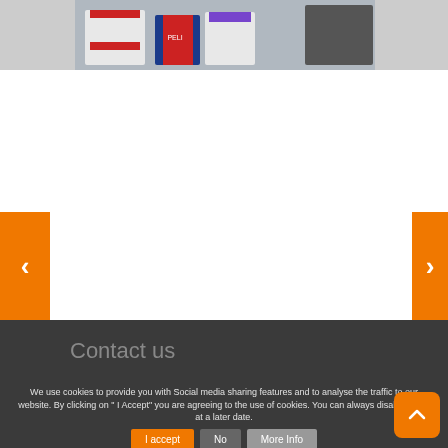[Figure (photo): Sports image showing people in jerseys/uniforms, partial view at top of page]
Contact us
We use cookies to provide you with Social media sharing features and to analyse the traffic to our website. By clicking on " I Accept" you are agreeing to the use of cookies. You can always disable these at a later date.